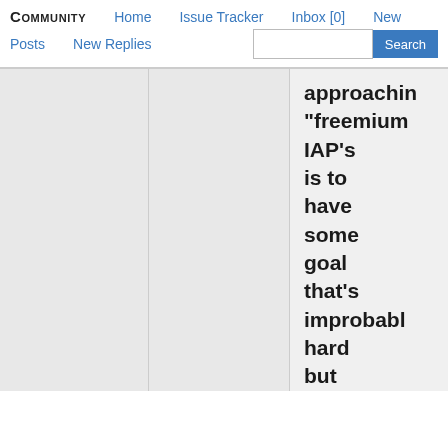Community  Home  Issue Tracker  Inbox [0]  New  Posts  New Replies  Search
approaching "freemium IAP's is to have some goal that's improbably hard but can be circumvented with money. This